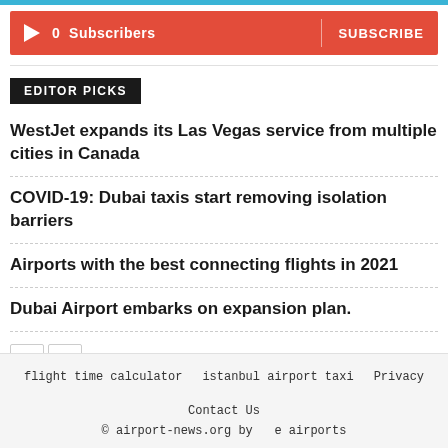[Figure (other): Subscribe bar with play icon, 0 Subscribers text, and SUBSCRIBE button on red background]
EDITOR PICKS
WestJet expands its Las Vegas service from multiple cities in Canada
COVID-19: Dubai taxis start removing isolation barriers
Airports with the best connecting flights in 2021
Dubai Airport embarks on expansion plan.
flight time calculator   istanbul airport taxi   Privacy   Contact Us
© airport-news.org by   e airports